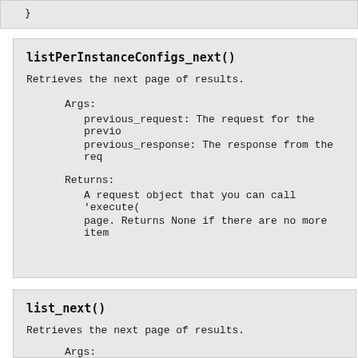}
listPerInstanceConfigs_next()
Retrieves the next page of results.
Args:
    previous_request: The request for the previo
    previous_response: The response from the req
Returns:
    A request object that you can call 'execute(
    page. Returns None if there are no more item
list_next()
Retrieves the next page of results.
Args:
    previous_request: The request for the previo
    previous_response: The response from the req